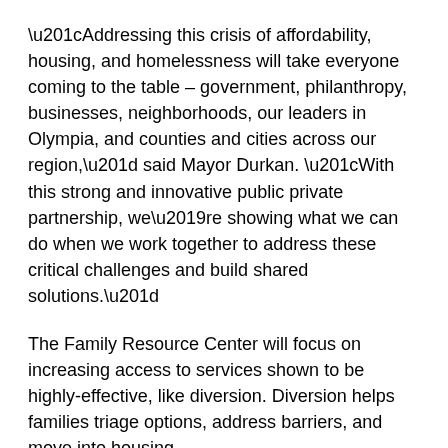“Addressing this crisis of affordability, housing, and homelessness will take everyone coming to the table – government, philanthropy, businesses, neighborhoods, our leaders in Olympia, and counties and cities across our region,” said Mayor Durkan. “With this strong and innovative public private partnership, we’re showing what we can do when we work together to address these critical challenges and build shared solutions.”
The Family Resource Center will focus on increasing access to services shown to be highly-effective, like diversion. Diversion helps families triage options, address barriers, and move into housing.
Gardner House and Allen Family Center will provide 95 housing units for low-income families and families experiencing homelessness. It is located in a transit and community rich neighborhood from the Mount Baker high